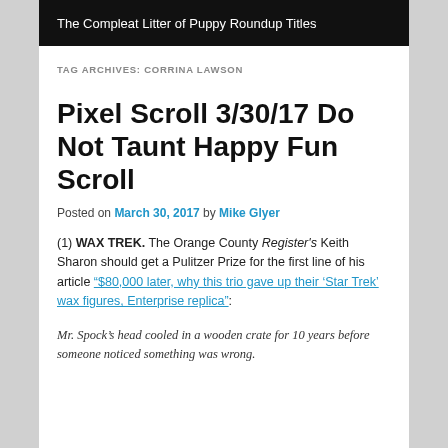The Compleat Litter of Puppy Roundup Titles
TAG ARCHIVES: CORRINA LAWSON
Pixel Scroll 3/30/17 Do Not Taunt Happy Fun Scroll
Posted on March 30, 2017 by Mike Glyer
(1) WAX TREK. The Orange County Register's Keith Sharon should get a Pulitzer Prize for the first line of his article “$80,000 later, why this trio gave up their ‘Star Trek’ wax figures, Enterprise replica”:
Mr. Spock’s head cooled in a wooden crate for 10 years before someone noticed something was wrong.